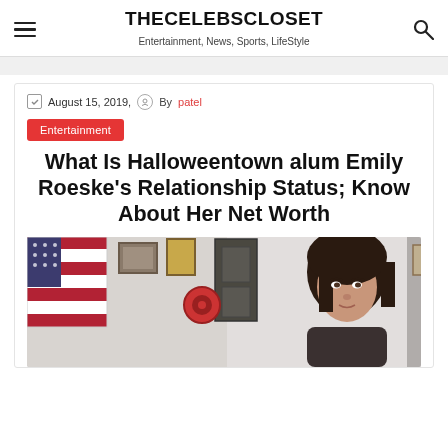THECELEBSCLOSET — Entertainment, News, Sports, LifeStyle
August 15, 2019,   By patel
Entertainment
What Is Halloweentown alum Emily Roeske's Relationship Status; Know About Her Net Worth
[Figure (photo): Photo of a young woman with dark hair in a room with an American flag on the wall, framed pictures, and other objects visible in the background.]